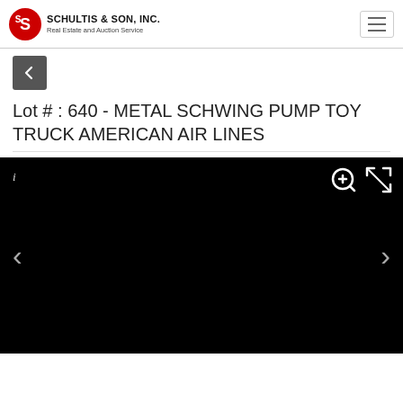SCHULTIS & SON, INC. Real Estate and Auction Service
Lot # : 640 - METAL SCHWING PUMP TOY TRUCK AMERICAN AIR LINES
[Figure (photo): Black image viewer panel with navigation arrows (left and right), zoom icon, and fullscreen icon. The main content area is fully black, representing a loading or dark photo state.]